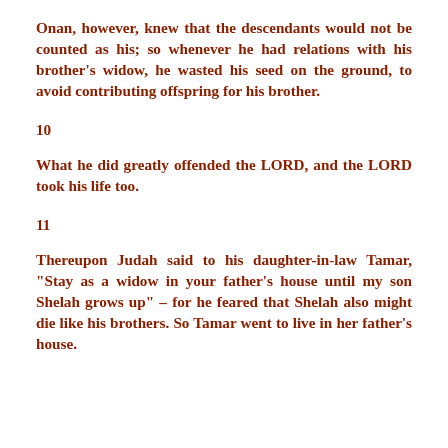Onan, however, knew that the descendants would not be counted as his; so whenever he had relations with his brother’s widow, he wasted his seed on the ground, to avoid contributing offspring for his brother.
10
What he did greatly offended the LORD, and the LORD took his life too.
11
Thereupon Judah said to his daughter-in-law Tamar, “Stay as a widow in your father’s house until my son Shelah grows up” – for he feared that Shelah also might die like his brothers. So Tamar went to live in her father’s house.